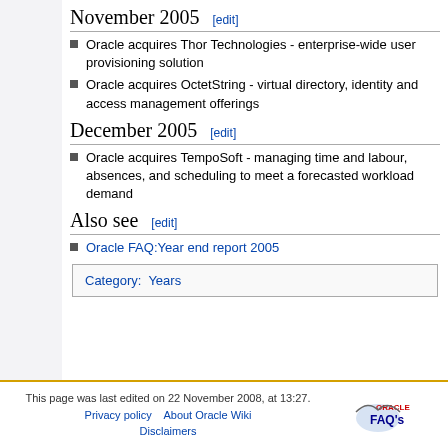November 2005 [edit]
Oracle acquires Thor Technologies - enterprise-wide user provisioning solution
Oracle acquires OctetString - virtual directory, identity and access management offerings
December 2005 [edit]
Oracle acquires TempoSoft - managing time and labour, absences, and scheduling to meet a forecasted workload demand
Also see [edit]
Oracle FAQ:Year end report 2005
Category:  Years
This page was last edited on 22 November 2008, at 13:27. Privacy policy  About Oracle Wiki  Disclaimers